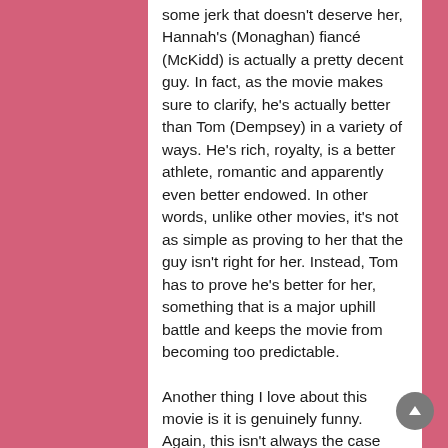some jerk that doesn't deserve her, Hannah's (Monaghan) fiancé (McKidd) is actually a pretty decent guy. In fact, as the movie makes sure to clarify, he's actually better than Tom (Dempsey) in a variety of ways. He's rich, royalty, is a better athlete, romantic and apparently even better endowed. In other words, unlike other movies, it's not as simple as proving to her that the guy isn't right for her. Instead, Tom has to prove he's better for her, something that is a major uphill battle and keeps the movie from becoming too predictable.
Another thing I love about this movie is it is genuinely funny. Again, this isn't always the case with romantic comedies because many of them will take themselves a little too seriously, almost to the point they are becoming more dramatic than funny. This film, however, does a fantastic job of staying light-hearted and funny. And, even though Tom is taking on a role that